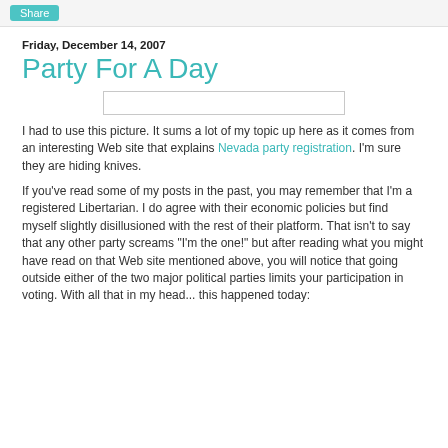Share
Friday, December 14, 2007
Party For A Day
[Figure (photo): Image placeholder rectangle – an image related to party/Nevada registration]
I had to use this picture. It sums a lot of my topic up here as it comes from an interesting Web site that explains Nevada party registration. I'm sure they are hiding knives.
If you've read some of my posts in the past, you may remember that I'm a registered Libertarian. I do agree with their economic policies but find myself slightly disillusioned with the rest of their platform. That isn't to say that any other party screams "I'm the one!" but after reading what you might have read on that Web site mentioned above, you will notice that going outside either of the two major political parties limits your participation in voting. With all that in my head... this happened today: